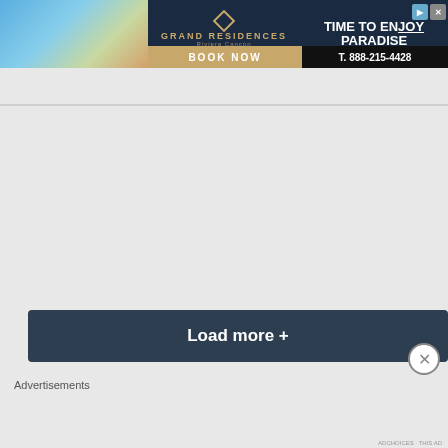[Figure (screenshot): Grand Residences Riviera Cancun banner advertisement with beach family photo, hotel name, TIME TO ENJOY PARADISE tagline, BOOK NOW button, and T. 888-215-4428 phone number]
[Figure (screenshot): Browser tab bar with back/up arrow tab button]
Load more +
Categories ▼
Advertisements
[Figure (screenshot): DuckDuckGo advertisement: Search, browse, and email with more privacy. All in One Free App - DuckDuckGo logo]